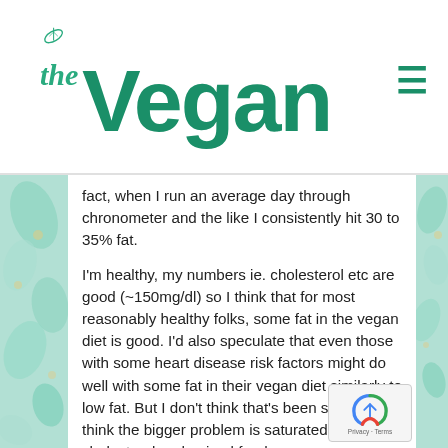the Vegan RD
fact, when I run an average day through chronometer and the like I consistently hit 30 to 35% fat.
I'm healthy, my numbers ie. cholesterol etc are good (~150mg/dl) so I think that for most reasonably healthy folks, some fat in the vegan diet is good. I'd also speculate that even those with some heart disease risk factors might do well with some fat in their vegan diet similarly to low fat. But I don't think that's been studied. I think the bigger problem is saturated fat, cholesterol and animal foods.
Anyway, I'm not sure if there's been any